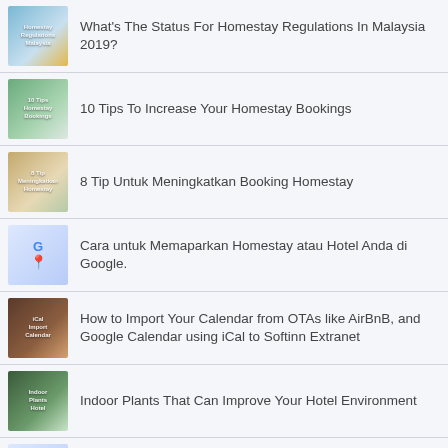What's The Status For Homestay Regulations In Malaysia 2019?
10 Tips To Increase Your Homestay Bookings
8 Tip Untuk Meningkatkan Booking Homestay
Cara untuk Memaparkan Homestay atau Hotel Anda di Google.
How to Import Your Calendar from OTAs like AirBnB, and Google Calendar using iCal to Softinn Extranet
Indoor Plants That Can Improve Your Hotel Environment
How People Can Easily Discover Your Hotel and Homestay on Google